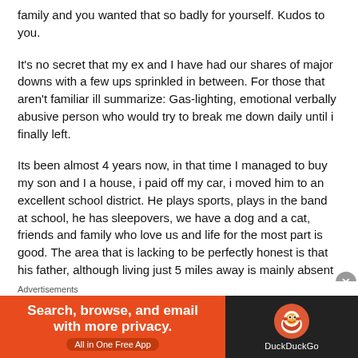family and you wanted that so badly for yourself. Kudos to you.
It's no secret that my ex and I have had our shares of major downs with a few ups sprinkled in between. For those that aren't familiar ill summarize: Gas-lighting, emotional verbally abusive person who would try to break me down daily until i finally left.
Its been almost 4 years now, in that time I managed to buy my son and I a house, i paid off my car, i moved him to an excellent school district. He plays sports, plays in the band at school, he has sleepovers, we have a dog and a cat, friends and family who love us and life for the most part is good. The area that is lacking to be perfectly honest is that his father, although living just 5 miles away is mainly absent by choice
Advertisements
[Figure (other): DuckDuckGo advertisement banner: orange left panel with text 'Search, browse, and email with more privacy. All in One Free App' and dark right panel with DuckDuckGo logo and name.]